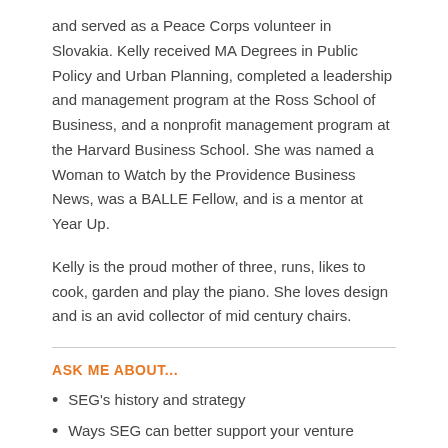and served as a Peace Corps volunteer in Slovakia. Kelly received MA Degrees in Public Policy and Urban Planning, completed a leadership and management program at the Ross School of Business, and a nonprofit management program at the Harvard Business School. She was named a Woman to Watch by the Providence Business News, was a BALLE Fellow, and is a mentor at Year Up.
Kelly is the proud mother of three, runs, likes to cook, garden and play the piano. She loves design and is an avid collector of mid century chairs.
ASK ME ABOUT...
SEG's history and strategy
Ways SEG can better support your venture
Connections to the many SEG volunteers and partners